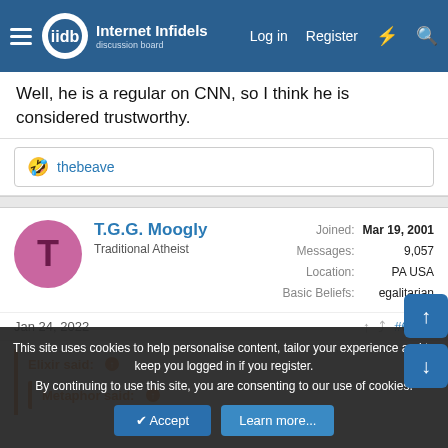Internet Infidels — Log in | Register
Well, he is a regular on CNN, so I think he is considered trustworthy.
thebeave
T.G.G. Moogly — Traditional Atheist — Joined: Mar 19, 2001 — Messages: 9,057 — Location: PA USA — Basic Beliefs: egalitarian
Jan 24, 2022  #6,506
Elixir said:
Metaphor said:
This site uses cookies to help personalise content, tailor your experience and to keep you logged in if you register.
By continuing to use this site, you are consenting to our use of cookies.